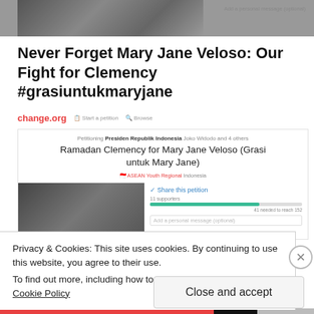[Figure (photo): Top portion of a photo showing people, partially cropped]
Add a personal message (optional)
Never Forget Mary Jane Veloso: Our Fight for Clemency #grasiuntukmaryjane
[Figure (screenshot): change.org website header with logo, Start a petition, and Browse navigation]
Petitioning Presiden Republik Indonesia Joko Widodo and 4 others
Ramadan Clemency for Mary Jane Veloso (Grasi untuk Mary Jane)
ASEAN Youth Regional Indonesia
[Figure (photo): Photo of Mary Jane Veloso with others]
✓ Share this petition
11 supporters
41 needed to reach 152
Add a personal message (optional)
Privacy & Cookies: This site uses cookies. By continuing to use this website, you agree to their use.
To find out more, including how to control cookies, see here: Cookie Policy
Close and accept